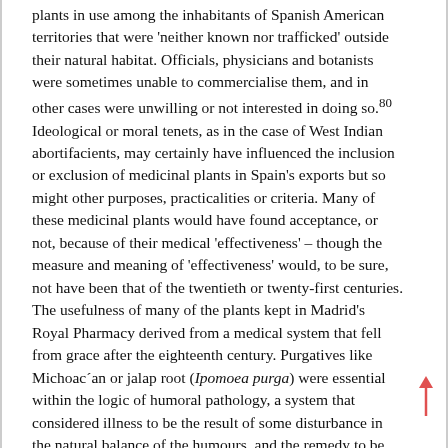plants in use among the inhabitants of Spanish American territories that were 'neither known nor trafficked' outside their natural habitat. Officials, physicians and botanists were sometimes unable to commercialise them, and in other cases were unwilling or not interested in doing so.80 Ideological or moral tenets, as in the case of West Indian abortifacients, may certainly have influenced the inclusion or exclusion of medicinal plants in Spain's exports but so might other purposes, practicalities or criteria. Many of these medicinal plants would have found acceptance, or not, because of their medical 'effectiveness' – though the measure and meaning of 'effectiveness' would, to be sure, not have been that of the twentieth or twenty-first centuries. The usefulness of many of the plants kept in Madrid's Royal Pharmacy derived from a medical system that fell from grace after the eighteenth century. Purgatives like Michoac´an or jalap root (Ipomoea purga) were essential within the logic of humoral pathology, a system that considered illness to be the result of some disturbance in the natural balance of the humours, and the remedy to be the revulsion or derivation of humours – through bleeding, purging and emetics or sudorific substances.81 At least within that reasoning, jalap or mechoac´an was